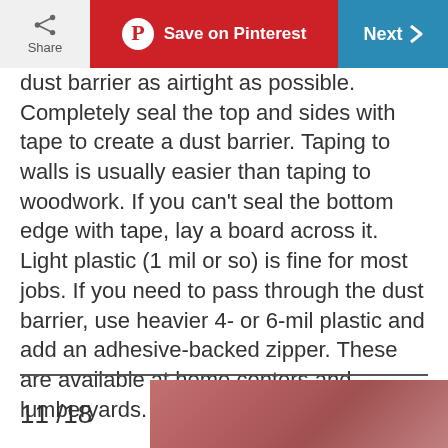Share | Save on Pinterest | Next
dust barrier as airtight as possible. Completely seal the top and sides with tape to create a dust barrier. Taping to walls is usually easier than taping to woodwork. If you can't seal the bottom edge with tape, lay a board across it. Light plastic (1 mil or so) is fine for most jobs. If you need to pass through the dust barrier, use heavier 4- or 6-mil plastic and add an adhesive-backed zipper. These are available at home centers and lumberyards.
11 /18